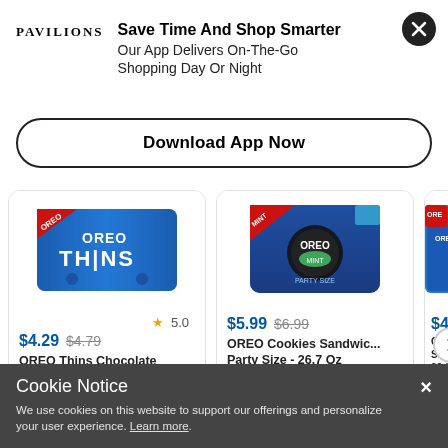Save Time And Shop Smarter
Our App Delivers On-The-Go Shopping Day Or Night
Download App Now
[Figure (screenshot): Oreo Thins product package - blue bag]
★ 5.0
$4.29  $4.79
OREO Thins Chocolate Sandwich Cookies 10.1 Oz
[Figure (screenshot): Oreo Mint Cookies product package - blue bag]
$5.99  $6.99
OREO Cookies Sandwic... Party Size - 26.7 Oz
[Figure (screenshot): Partially visible Oreo product package]
$4.69
O C S 36 /
Cookie Notice
We use cookies on this website to support our offerings and personalize your user experience. Learn more.